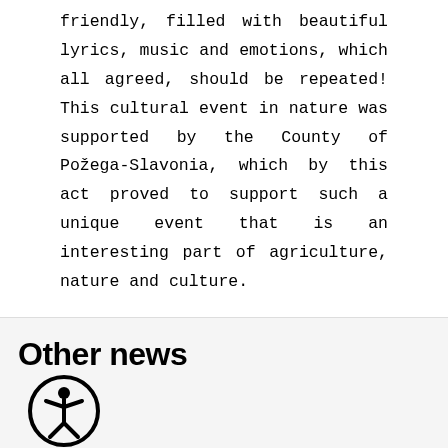friendly, filled with beautiful lyrics, music and emotions, which all agreed, should be repeated! This cultural event in nature was supported by the County of Požega-Slavonia, which by this act proved to support such a unique event that is an interesting part of agriculture, nature and culture.
Other news
[Figure (photo): Accessibility icon (person in circle) below the Other news heading]
[Figure (photo): Partial photo of people outdoors, cropped at bottom of page]